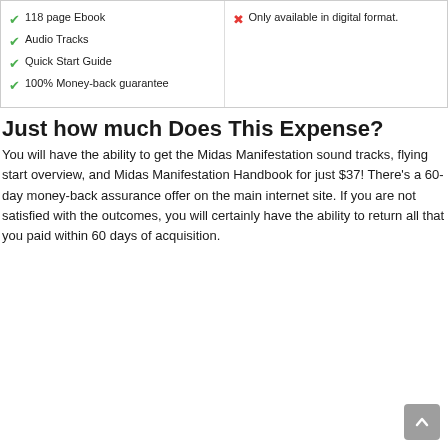✓ 118 page Ebook
✓ Audio Tracks
✓ Quick Start Guide
✓ 100% Money-back guarantee
✗ Only available in digital format.
Just how much Does This Expense?
You will have the ability to get the Midas Manifestation sound tracks, flying start overview, and Midas Manifestation Handbook for just $37! There's a 60-day money-back assurance offer on the main internet site. If you are not satisfied with the outcomes, you will certainly have the ability to return all that you paid within 60 days of acquisition.